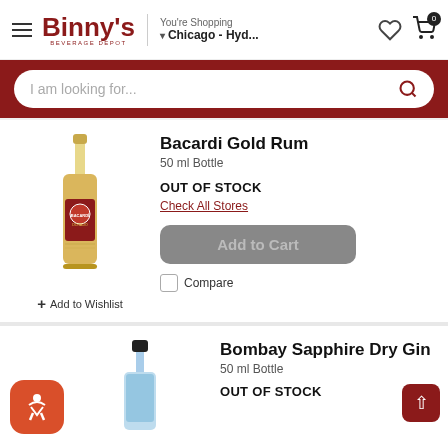Binny's Beverage Depot — You're Shopping Chicago - Hyd...
I am looking for...
Bacardi Gold Rum
50 ml Bottle
OUT OF STOCK
Check All Stores
Add to Cart
+ Add to Wishlist
Compare
[Figure (photo): Small Bacardi Gold Rum 50ml bottle]
Bombay Sapphire Dry Gin
50 ml Bottle
OUT OF STOCK
[Figure (photo): Small Bombay Sapphire Dry Gin 50ml bottle]